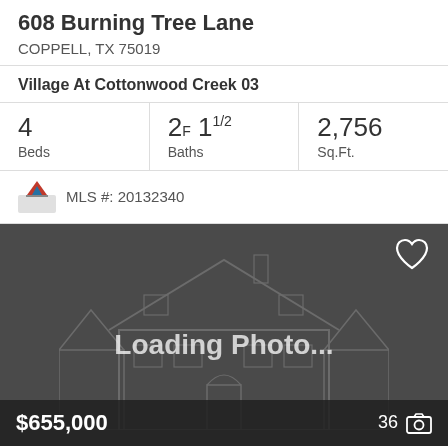608 Burning Tree Lane
COPPELL, TX 75019
Village At Cottonwood Creek 03
| Beds | Baths | Sq.Ft. |
| --- | --- | --- |
| 4 | 2F 11/2 | 2,756 |
MLS #: 20132340
[Figure (photo): Loading Photo placeholder with outline drawing of a two-story house on dark gray background. Shows price $655,000 and photo count 36 at bottom.]